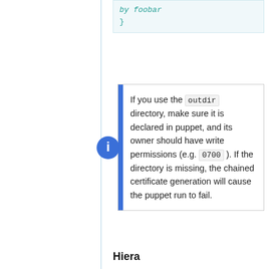by foobar
}
If you use the outdir directory, make sure it is declared in puppet, and its owner should have write permissions (e.g. 0700 ). If the directory is missing, the chained certificate generation will cause the puppet run to fail.
Hiera